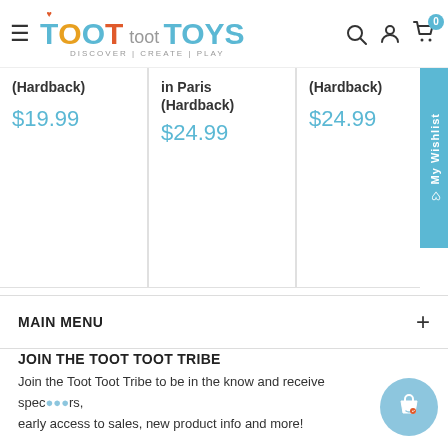Toot Toot Toys — DISCOVER | CREATE | PLAY
(Hardback)
$19.99
in Paris (Hardback)
$24.99
(Hardback)
$24.99
MAIN MENU
JOIN THE TOOT TOOT TRIBE
Join the Toot Toot Tribe to be in the know and receive special offers, early access to sales, new product info and more!